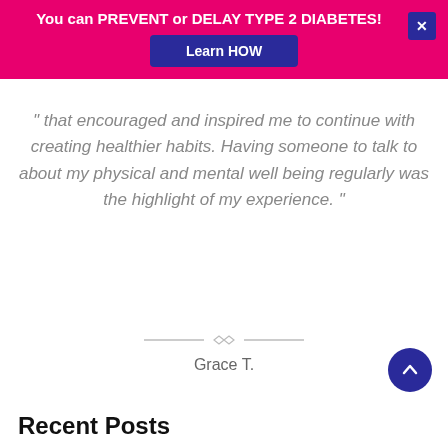You can PREVENT or DELAY TYPE 2 DIABETES! Learn HOW
that encouraged and inspired me to continue with creating healthier habits. Having someone to talk to about my physical and mental well being regularly was the highlight of my experience. "
Grace T.
Recent Posts